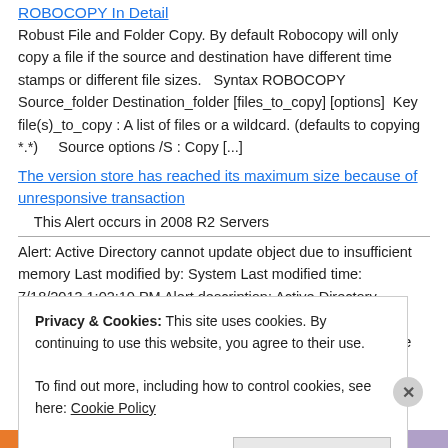ROBOCOPY In Detail
Robust File and Folder Copy. By default Robocopy will only copy a file if the source and destination have different time stamps or different file sizes.    Syntax ROBOCOPY Source_folder Destination_folder [files_to_copy] [options]   Key file(s)_to_copy : A list of files or a wildcard. (defaults to copying *.*)      Source options /S : Copy [...]
The version store has reached its maximum size because of unresponsive transaction
This Alert occurs in 2008 R2 Servers
Alert: Active Directory cannot update object due to insufficient memory Last modified by: System Last modified time: 7/18/2013 1:02:10 PM Alert description: Active Directory Domain Services could not update the following object in the local Active Directory Domain Services database with change [...]
Privacy & Cookies: This site uses cookies. By continuing to use this website, you agree to their use.
To find out more, including how to control cookies, see here: Cookie Policy
Close and accept